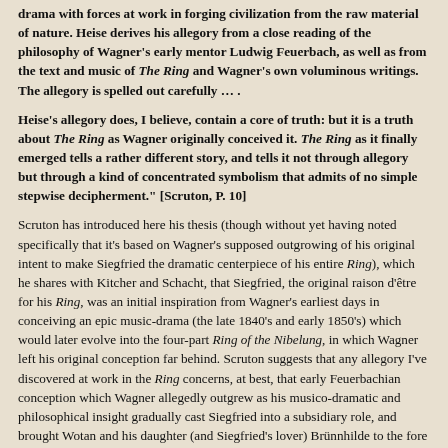drama with forces at work in forging civilization from the raw material of nature. Heise derives his allegory from a close reading of the philosophy of Wagner's early mentor Ludwig Feuerbach, as well as from the text and music of The Ring and Wagner's own voluminous writings. The allegory is spelled out carefully … .
Heise's allegory does, I believe, contain a core of truth: but it is a truth about The Ring as Wagner originally conceived it. The Ring as it finally emerged tells a rather different story, and tells it not through allegory but through a kind of concentrated symbolism that admits of no simple stepwise decipherment." [Scruton, P. 10]
Scruton has introduced here his thesis (though without yet having noted specifically that it's based on Wagner's supposed outgrowing of his original intent to make Siegfried the dramatic centerpiece of his entire Ring), which he shares with Kitcher and Schacht, that Siegfried, the original raison d'être for his Ring, was an initial inspiration from Wagner's earliest days in conceiving an epic music-drama (the late 1840's and early 1850's) which would later evolve into the four-part Ring of the Nibelung, in which Wagner left his original conception far behind. Scruton suggests that any allegory I've discovered at work in the Ring concerns, at best, that early Feuerbachian conception which Wagner allegedly outgrew as his musico-dramatic and philosophical insight gradually cast Siegfried into a subsidiary role, and brought Wotan and his daughter (and Siegfried's lover) Brünnhilde to the fore as the Ring's dramatic pillars. Scruton here